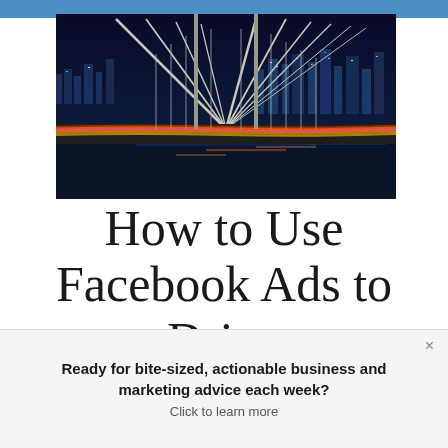[Figure (photo): Night time photo of a suspension bridge (Brooklyn Bridge style) with light trails from traffic below, city skyline with colorful lights in the background, taken from the bridge deck looking across.]
How to Use Facebook Ads to Drive
Ready for bite-sized, actionable business and marketing advice each week?
Click to learn more